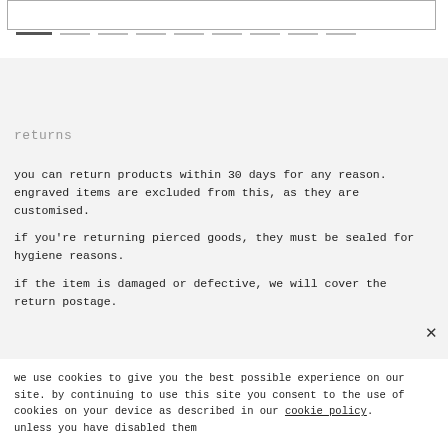[Figure (other): Top navigation/search bar box with pagination dots below]
returns
you can return products within 30 days for any reason. engraved items are excluded from this, as they are customised.
if you're returning pierced goods, they must be sealed for hygiene reasons.
if the item is damaged or defective, we will cover the return postage.
we use cookies to give you the best possible experience on our site. by continuing to use this site you consent to the use of cookies on your device as described in our cookie policy. unless you have disabled them